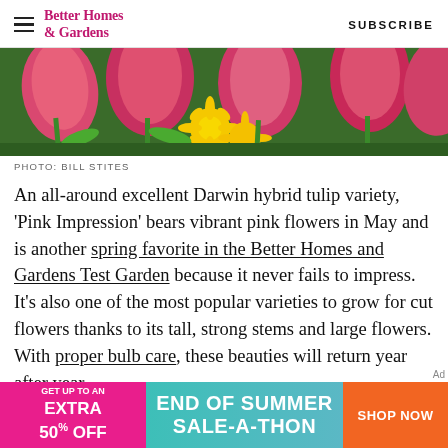Better Homes & Gardens   SUBSCRIBE
[Figure (photo): Pink tulips and yellow flowers garden photo]
PHOTO: BILL STITES
An all-around excellent Darwin hybrid tulip variety, 'Pink Impression' bears vibrant pink flowers in May and is another spring favorite in the Better Homes and Gardens Test Garden because it never fails to impress. It's also one of the most popular varieties to grow for cut flowers thanks to its tall, strong stems and large flowers. With proper bulb care, these beauties will return year after year.
[Figure (infographic): Advertisement banner: GET UP TO AN EXTRA 50% OFF | END OF SUMMER SALE-A-THON | SHOP NOW]